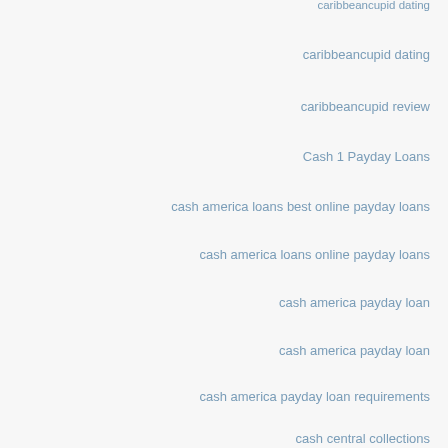caribbeancupid dating
caribbeancupid dating
caribbeancupid review
Cash 1 Payday Loans
cash america loans best online payday loans
cash america loans online payday loans
cash america payday loan
cash america payday loan
cash america payday loan requirements
cash central collections